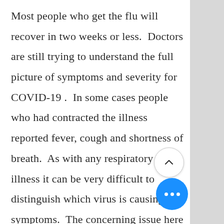Most people who get the flu will recover in two weeks or less.  Doctors are still trying to understand the full picture of symptoms and severity for COVID-19 .  In some cases people who had contracted the illness reported fever, cough and shortness of breath.  As with any respiratory illness it can be very difficult to distinguish which virus is causing the symptoms.  The concerning issue here is that it's not b… contained in China and people continue